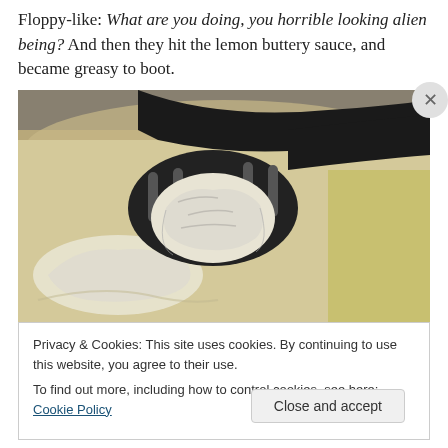Floppy-like: What are you doing, you horrible looking alien being? And then they hit the lemon buttery sauce, and became greasy to boot.
[Figure (photo): A dumpling or pierogi being held up on a black slotted spoon over a pot of cooking liquid and sauce.]
Privacy & Cookies: This site uses cookies. By continuing to use this website, you agree to their use.
To find out more, including how to control cookies, see here: Cookie Policy